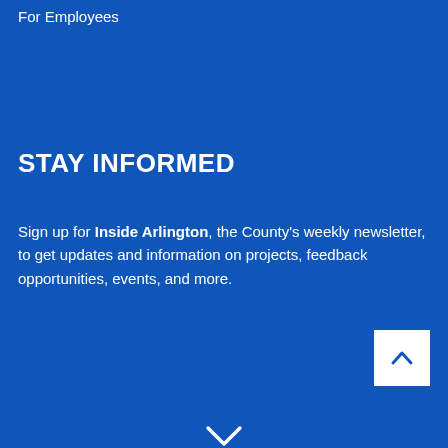For Employees
STAY INFORMED
Sign up for Inside Arlington, the County's weekly newsletter, to get updates and information on projects, feedback opportunities, events, and more.